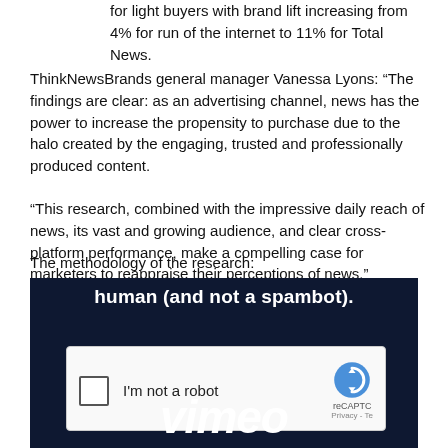for light buyers with brand lift increasing from 4% for run of the internet to 11% for Total News.
ThinkNewsBrands general manager Vanessa Lyons: “The findings are clear: as an advertising channel, news has the power to increase the propensity to purchase due to the halo created by the engaging, trusted and professionally produced content.
“This research, combined with the impressive daily reach of news, its vast and growing audience, and clear cross-platform performance, make a compelling case for marketers to reappraise their perceptions of news.”
The methodology of the research:
[Figure (screenshot): A screenshot of a Vimeo video player showing a CAPTCHA verification prompt with 'human (and not a spambot).' text, an reCAPTCHA checkbox labeled 'I'm not a robot', and the Vimeo logo at the bottom on a dark navy background.]